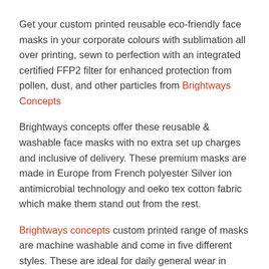Get your custom printed reusable eco-friendly face masks in your corporate colours with sublimation all over printing, sewn to perfection with an integrated certified FFP2 filter for enhanced protection from pollen, dust, and other particles from Brightways Concepts
Brightways concepts offer these reusable & washable face masks with no extra set up charges and inclusive of delivery. These premium masks are made in Europe from French polyester Silver ion antimicrobial technology and oeko tex cotton fabric which make them stand out from the rest.
Brightways concepts custom printed range of masks are machine washable and come in five different styles. These are ideal for daily general wear in shops, schools, universities & commuting etc. Get these printed in your corporate colours for a free promotional giveaway to members of your staff, clients & customers. These branded reusable face masks are a great marketing tool for distributing at various